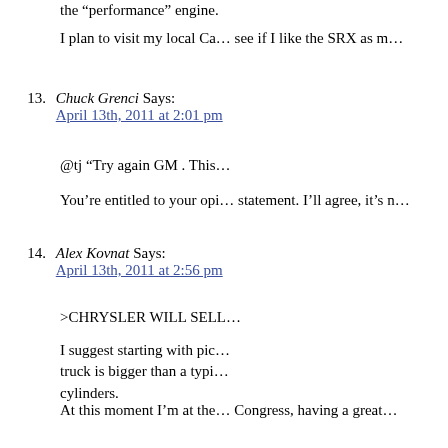the “performance” engine.
I plan to visit my local Ca... see if I like the SRX as m...
13. Chuck Grenci Says: April 13th, 2011 at 2:01 pm
@tj “Try again GM . This...
You’re entitled to your opi... statement. I’ll agree, it’s n...
14. Alex Kovnat Says: April 13th, 2011 at 2:56 pm
>CHRYSLER WILL SELL...
I suggest starting with pic... truck is bigger than a typi... cylinders.
At this moment I’m at the... Congress, having a great...
15. Lex Says: April 13th, 2011 at 3:05 pm
Rod,
Too bad about no tickets...
When are the Fat Cats in... ordinary taxpayer by eithe... taxes or cap the price at...